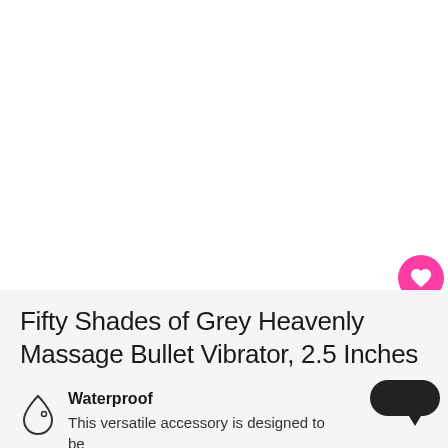[Figure (photo): White background product image area (product not fully visible)]
Fifty Shades of Grey Heavenly Massage Bullet Vibrator, 2.5 Inches
Waterproof
This versatile accessory is designed to be waterproof, allowing you to indulge in the